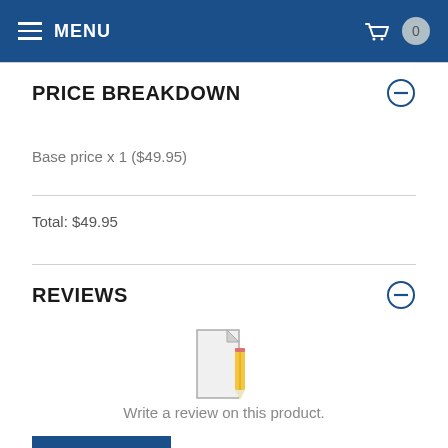MENU
PRICE BREAKDOWN
Base price x 1 ($49.95)
Total: $49.95
REVIEWS
[Figure (illustration): Document with pencil icon representing write a review]
Write a review on this product.
VIEW MORE